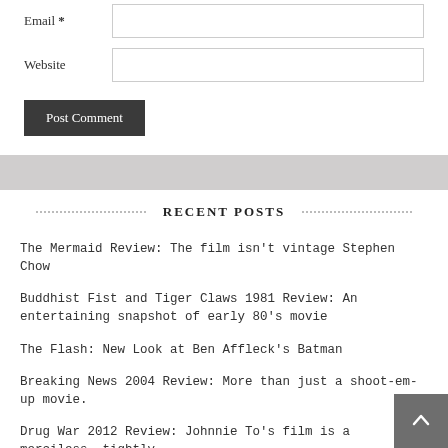Email *
Website
Post Comment
RECENT POSTS
The Mermaid Review: The film isn't vintage Stephen Chow
Buddhist Fist and Tiger Claws 1981 Review: An entertaining snapshot of early 80's movie
The Flash: New Look at Ben Affleck's Batman
Breaking News 2004 Review: More than just a shoot-em-up movie.
Drug War 2012 Review: Johnnie To's film is a merciless, tightly